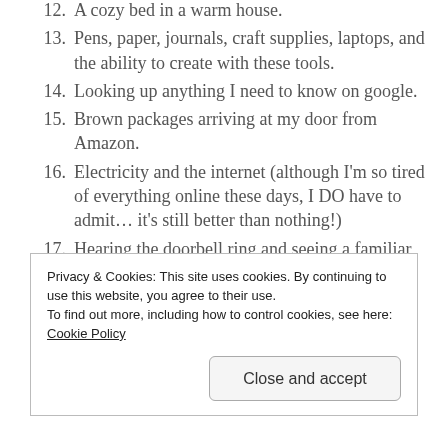12. A cozy bed in a warm house.
13. Pens, paper, journals, craft supplies, laptops, and the ability to create with these tools.
14. Looking up anything I need to know on google.
15. Brown packages arriving at my door from Amazon.
16. Electricity and the internet (although I'm so tired of everything online these days, I DO have to admit… it's still better than nothing!)
17. Hearing the doorbell ring and seeing a familiar face at the door coming to drop something off.
18. The word of God, which encourages me daily.
19. The Holy Spirit, who guides me so gently, even
Privacy & Cookies: This site uses cookies. By continuing to use this website, you agree to their use.
To find out more, including how to control cookies, see here: Cookie Policy
Close and accept